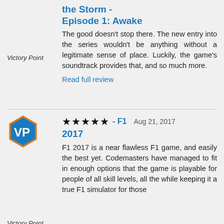the Storm - Episode 1: Awake
The good doesn't stop there. The new entry into the series wouldn't be anything without a legitimate sense of place. Luckily, the game's soundtrack provides that, and so much more.
Read full review
Victory Point
[Figure (logo): Victory Point hexagonal logo in blue and orange with VP initials]
★★★★★ - F1  Aug 21, 2017
F1 2017
F1 2017 is a near flawless F1 game, and easily the best yet. Codemasters have managed to fit in enough options that the game is playable for people of all skill levels, all the while keeping it a true F1 simulator for those
Victory Point